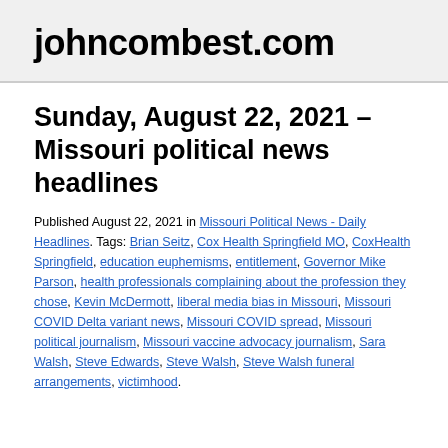johncombest.com
Sunday, August 22, 2021 – Missouri political news headlines
Published August 22, 2021 in Missouri Political News - Daily Headlines. Tags: Brian Seitz, Cox Health Springfield MO, CoxHealth Springfield, education euphemisms, entitlement, Governor Mike Parson, health professionals complaining about the profession they chose, Kevin McDermott, liberal media bias in Missouri, Missouri COVID Delta variant news, Missouri COVID spread, Missouri political journalism, Missouri vaccine advocacy journalism, Sara Walsh, Steve Edwards, Steve Walsh, Steve Walsh funeral arrangements, victimhood.